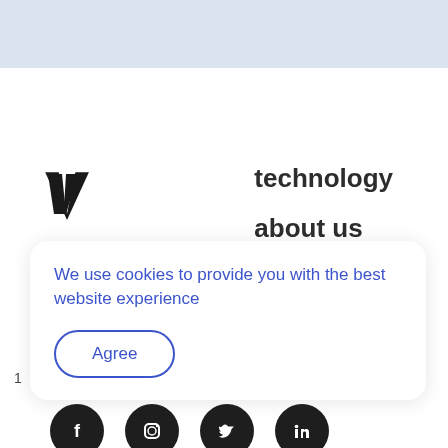[Figure (logo): V-shaped logo mark in dark/black color]
technology
about us
impact
portfolio
We use cookies to provide you with the best website experience
Agree
1
[Figure (illustration): Social media icons: Facebook, Instagram, Twitter, LinkedIn — dark circular buttons at bottom of page]